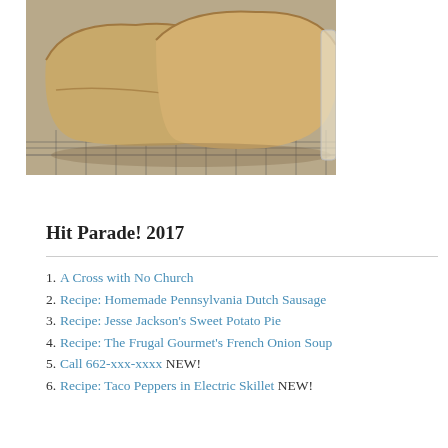[Figure (photo): Photo of bread loaves on a wire cooling rack]
Hit Parade! 2017
A Cross with No Church
Recipe: Homemade Pennsylvania Dutch Sausage
Recipe: Jesse Jackson's Sweet Potato Pie
Recipe: The Frugal Gourmet's French Onion Soup
Call 662-xxx-xxxx NEW!
Recipe: Taco Peppers in Electric Skillet NEW!